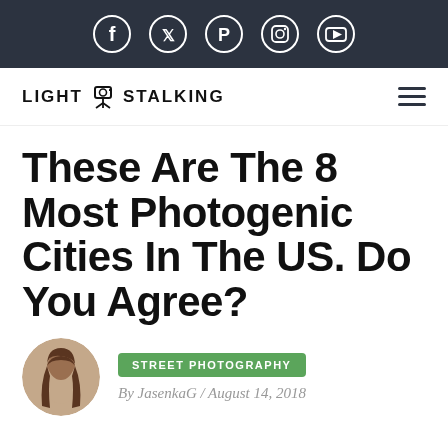Social media icons: Facebook, Twitter, Pinterest, Instagram, YouTube
[Figure (logo): LightStalking logo with tripod icon and hamburger menu]
These Are The 8 Most Photogenic Cities In The US. Do You Agree?
STREET PHOTOGRAPHY
By JasenkaG / August 14, 2018